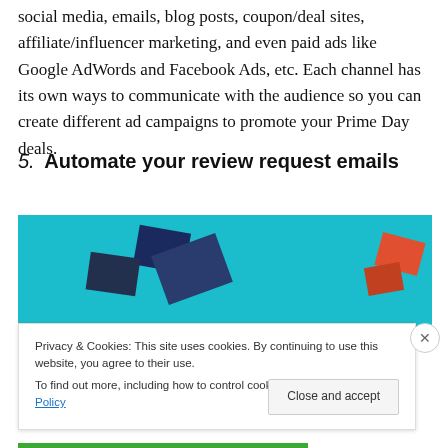social media, emails, blog posts, coupon/deal sites, affiliate/influencer marketing, and even paid ads like Google AdWords and Facebook Ads, etc. Each channel has its own ways to communicate with the audience so you can create different ad campaigns to promote your Prime Day deals.
5. Automate your review request emails
[Figure (illustration): Illustration with teal/cyan background showing scattered envelope icons in dark blue and red colors, representing email/review request automation concept.]
Privacy & Cookies: This site uses cookies. By continuing to use this website, you agree to their use.
To find out more, including how to control cookies, see here: Cookie Policy